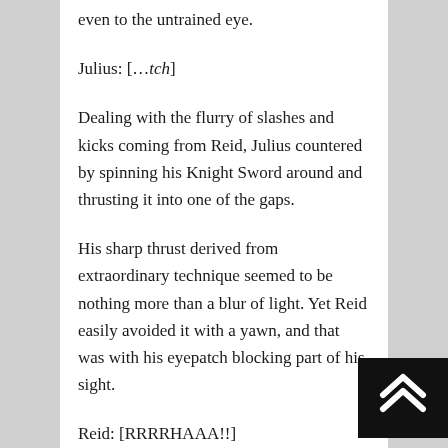even to the untrained eye.
Julius: [...tch]
Dealing with the flurry of slashes and kicks coming from Reid, Julius countered by spinning his Knight Sword around and thrusting it into one of the gaps.
His sharp thrust derived from extraordinary technique seemed to be nothing more than a blur of light. Yet Reid easily avoided it with a yawn, and that was with his eyepatch blocking part of his sight.
Reid: [RRRRHAAA!!]
Julius looked on, stunned that Reid had avoided his thrust. Immediately afterwards, a casual-looking k... slammed into Julius' torso, with the color of his pāri...